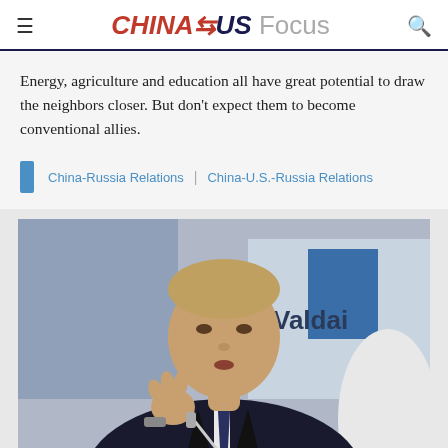CHINA⇄US Focus
Energy, agriculture and education all have great potential to draw the neighbors closer. But don't expect them to become conventional allies.
China-Russia Relations | China-U.S.-Russia Relations
[Figure (photo): A man in a dark suit gestures with his right hand while seated at a conference table with microphones, in front of a backdrop that reads 'Valdai'. He appears to be speaking at a panel discussion.]